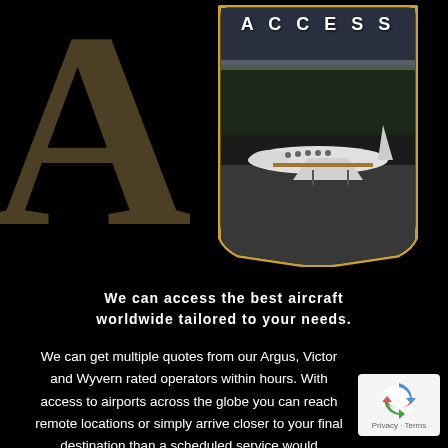[Figure (logo): Large decorative gold/brown letter 'A' watermark on the left side of black background]
[Figure (photo): Shield/badge shaped image with gold border containing a private jet on a tarmac with snow-covered trees in background, with 'ACCESS' text overlay]
We can access the best aircraft worldwide tailored to your needs.
We can get multiple quotes from our Argus, Victor and Wyvern rated operators within hours. With access to airports across the globe you can reach remote locations or simply arrive closer to your final destination than a scheduled service would
[Figure (logo): Google reCAPTCHA badge with Privacy and Terms text]